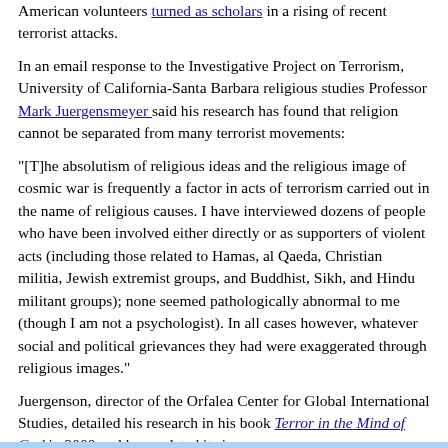American volunteers turned as scholars in a rising of recent terrorist attacks.
In an email response to the Investigative Project on Terrorism, University of California-Santa Barbara religious studies Professor Mark Juergensmeyer said his research has found that religion cannot be separated from many terrorist movements:
"[T]he absolutism of religious ideas and the religious image of cosmic war is frequently a factor in acts of terrorism carried out in the name of religious causes. I have interviewed dozens of people who have been involved either directly or as supporters of violent acts (including those related to Hamas, al Qaeda, Christian militia, Jewish extremist groups, and Buddhist, Sikh, and Hindu militant groups); none seemed pathologically abnormal to me (though I am not a psychologist). In all cases however, whatever social and political grievances they had were exaggerated through religious images."
Juergenson, director of the Orfalea Center for Global International Studies, detailed his research in his book Terror in the Mind of God in 2000 and has updated it since.
In the book, he writes:
"But more often it has been religions – sometimes in